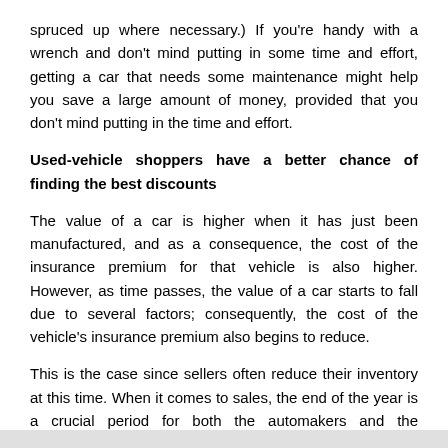spruced up where necessary.) If you're handy with a wrench and don't mind putting in some time and effort, getting a car that needs some maintenance might help you save a large amount of money, provided that you don't mind putting in the time and effort.
Used-vehicle shoppers have a better chance of finding the best discounts
The value of a car is higher when it has just been manufactured, and as a consequence, the cost of the insurance premium for that vehicle is also higher. However, as time passes, the value of a car starts to fall due to several factors; consequently, the cost of the vehicle's insurance premium also begins to reduce.
This is the case since sellers often reduce their inventory at this time. When it comes to sales, the end of the year is a crucial period for both the automakers and the dealerships that sell their products.